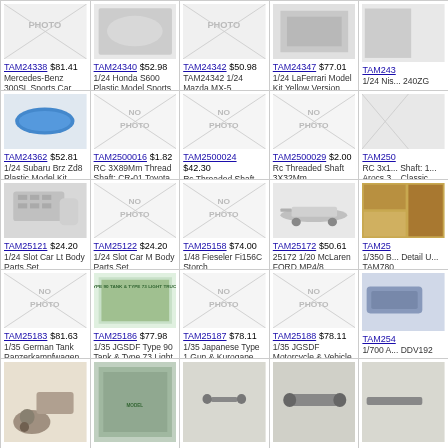[Figure (other): Product grid showing model kits and RC parts for sale with prices]
TAM24338 $81.41 Mercedes-Benz 300SL Sports Car
TAM24340 $52.98 1/24 Honda S600 Plastic Model Sports Car
TAM24342 $50.98 TAM24342 1/24 Mazda MX-5
TAM24347 $77.01 1/24 LaFerrari Model Kit Yellow Version
TAM243... 1/24 Nis... 240ZG
TAM24362 $52.81 1/24 Subaru Brz Zd8 Plastic Model Kit
TAM2500016 $1.82 RC 3X89Mm Thread Shaft: CR-01 Toyota Land Cruiser
TAM2500024 $42.30 Rc Threaded Shaft 3X18Mm
TAM2500029 $2.00 Rc Threaded Shaft 3X32Mm
TAM250... RC 3x1... Shaft: 1... Arocs 3... Classic
TAM25121 $24.20 1/24 Slot Car Lt Body Parts Set
TAM25122 $24.20 1/24 Slot Car M Body Parts Set
TAM25158 $74.00 1/48 Fieseler Fi156C Storch
TAM25172 $50.61 25172 1/20 McLaren FORD MP4/8
TAM25... 1/350 B... Detail U... TAM780
TAM25183 $81.63 1/35 German Tank Panzerkampfwagen IV Ausf.J Sp Ed
TAM25186 $77.98 1/35 JGSDF Type 90 Tank & Type 73 Light Truck LE Plastic Model K
TAM25187 $78.11 1/35 Japanese Type 1 Gun & Kurogane 4x4 Set Ltd Ed
TAM25188 $78.11 1/35 JGSDF Motorcycle & Vehicle Set Ltd Ed
TAM254... 1/700 A... DDV192